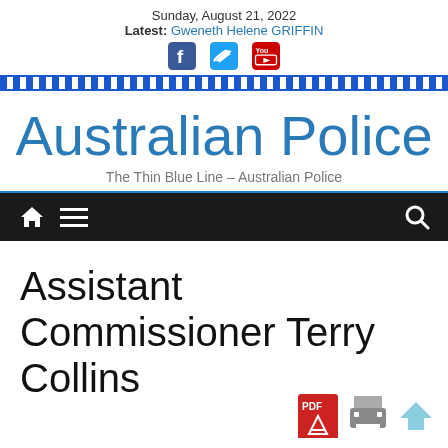Sunday, August 21, 2022
Latest: Gweneth Helene GRIFFIN
Australian Police
The Thin Blue Line – Australian Police
Assistant Commissioner Terry Collins
[Figure (screenshot): PDF and print icons at bottom right]